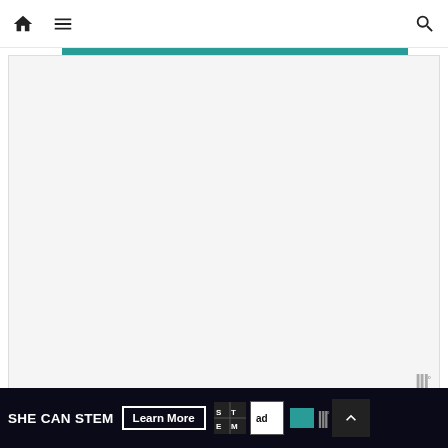Navigation bar with home icon, hamburger menu, and search icon
[Figure (other): Advertisement or image placeholder area with teal progress bar at top and Mobi logo watermark at bottom right]
“I want the truth, Mr. Sherringford. And I want justice for Lady Grey. It will not bring her back, but she deserves that, at least. If our business cannot be saved, well, that must be faced. But I will not sit around and wonder why. I must know.”
“And there is nothing else causing you difficulty?”
She thought of Milverton’s offer of marriage. “Nothing that… perti… ma…
SHE CAN STEM  Learn More  [STEM logo] [ad council logo]